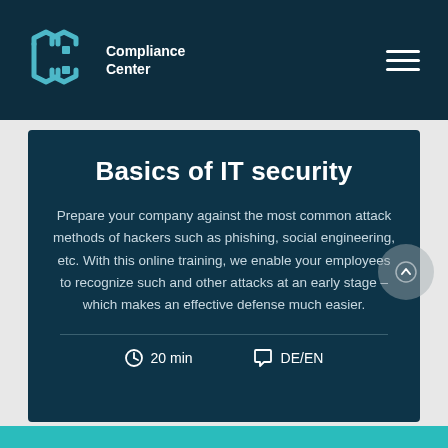Compliance Center
Basics of IT security
Prepare your company against the most common attack methods of hackers such as phishing, social engineering, etc. With this online training, we enable your employees to recognize such and other attacks at an early stage – which makes an effective defense much easier.
20 min   DE/EN